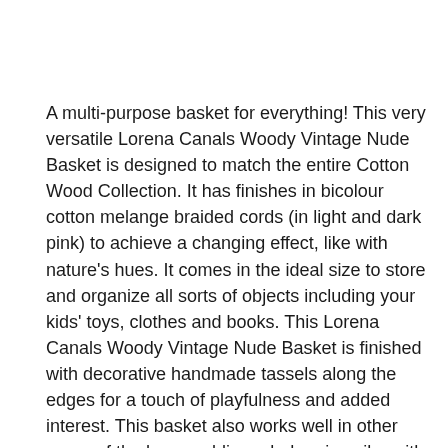A multi-purpose basket for everything! This very versatile Lorena Canals Woody Vintage Nude Basket is designed to match the entire Cotton Wood Collection. It has finishes in bicolour cotton melange braided cords (in light and dark pink) to achieve a changing effect, like with nature's hues. It comes in the ideal size to store and organize all sorts of objects including your kids' toys, clothes and books. This Lorena Canals Woody Vintage Nude Basket is finished with decorative handmade tassels along the edges for a touch of playfulness and added interest. This basket also works well in other areas of the home adding a bohemian vibe with its bold and unique design. Handmade from natural cotton and non-toxic dyes, this Lorena Canals Woody Vintage Nude Basket brings a touch of nature indoors with its calming and earthy colour tone.
This Lorena Canals Woody Vintage Nude Basket is part of the Cotton Wood Collection, which evokes a walk in the woods with moss covered pathways, lichen covered rocks and pine cones scattered on the ground. You can faintly hear the rustle of a squirrel climbing up a tree, pine trees swaying in the wind, the